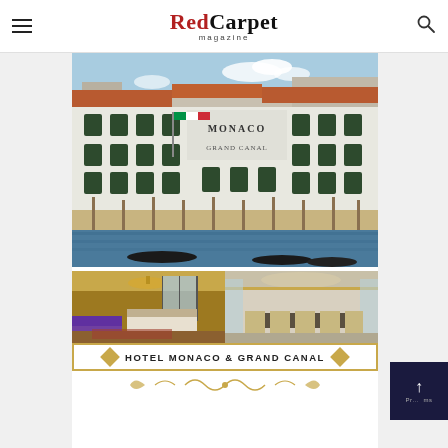Red Carpet magazine
[Figure (photo): Exterior view of Hotel Monaco & Grand Canal in Venice, a white classical building with terracotta roof, Italian flag, waterfront terrace with gondolas on the Grand Canal]
[Figure (photo): Interior photo of a luxury hotel room with ornate chandelier, purple sofa, and canal view]
[Figure (photo): Interior photo of an elegant hotel ballroom or meeting room with gilded ceiling and classic furniture]
HOTEL MONACO & GRAND CANAL